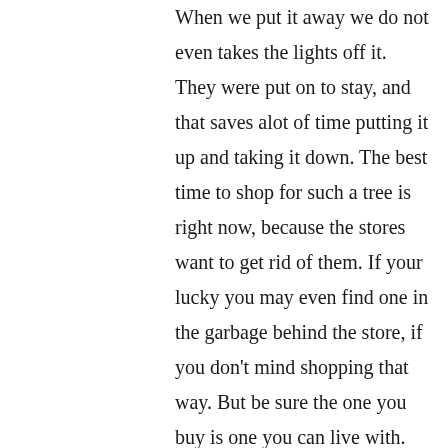When we put it away we do not even takes the lights off it. They were put on to stay, and that saves alot of time putting it up and taking it down. The best time to shop for such a tree is right now, because the stores want to get rid of them. If your lucky you may even find one in the garbage behind the store, if you don't mind shopping that way. But be sure the one you buy is one you can live with. Otherwise you are just throwing away your money.